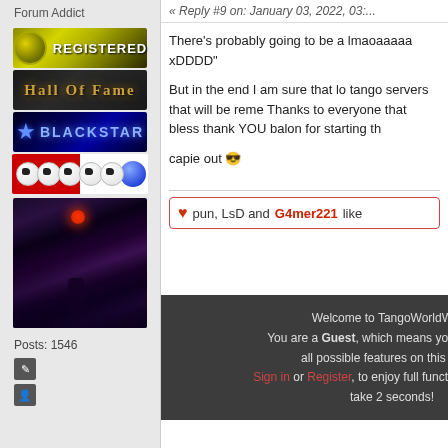Forum Addict
[Figure (illustration): Registered badge with globe icon and yellow-green gradient background]
[Figure (illustration): Hall Of Fame badge with dark background and golden text]
[Figure (illustration): Blackstar badge with blue glow and star icon]
[Figure (illustration): Soccer balls badge with red and white background]
[Figure (photo): Night street scene with red traffic light, snowy urban environment with purple hues]
Posts: 1546
« Reply #9 on: January 03, 2022, 03:...
There's probably going to be a lmaoaaaaa xDDDD"
But in the end I am sure that lo tango servers that will be reme Thanks to everyone that bless thank YOU balon for starting th
capie out 😎
♥ pun, LsD and G4mer221 like
Welcome to TangoWorldWide!
You are a Guest, which means you cannot use all possible features on this forum.
Sign in or Register, to enjoy full functionality. It'll only take 2 seconds!